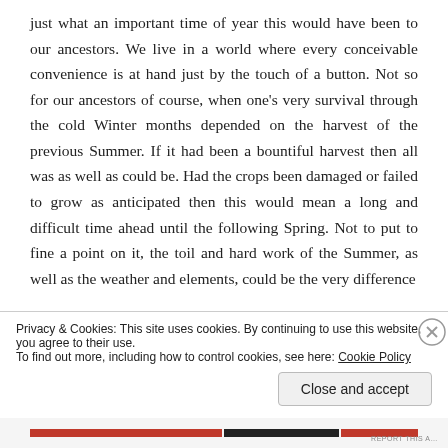just what an important time of year this would have been to our ancestors. We live in a world where every conceivable convenience is at hand just by the touch of a button. Not so for our ancestors of course, when one's very survival through the cold Winter months depended on the harvest of the previous Summer. If it had been a bountiful harvest then all was as well as could be. Had the crops been damaged or failed to grow as anticipated then this would mean a long and difficult time ahead until the following Spring. Not to put to fine a point on it, the toil and hard work of the Summer, as well as the weather and elements, could be the very difference
Privacy & Cookies: This site uses cookies. By continuing to use this website, you agree to their use.
To find out more, including how to control cookies, see here: Cookie Policy
Close and accept